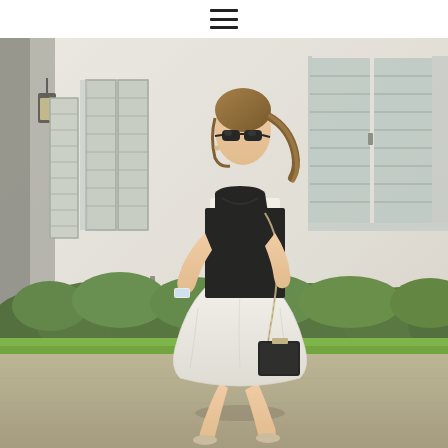hamburger menu icon
[Figure (photo): A young woman wearing sunglasses, a white collared top layered with a black cami, a white flared skirt, carrying a black chain crossbody bag, walking on a sidewalk in front of a white building with light grey louvered shutters and green hedges in the background. Outdoors, sunny day.]